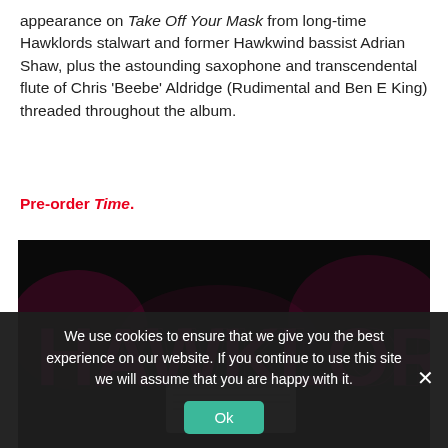appearance on Take Off Your Mask from long-time Hawklords stalwart and former Hawkwind bassist Adrian Shaw, plus the astounding saxophone and transcendental flute of Chris 'Beebe' Aldridge (Rudimental and Ben E King) threaded throughout the album.
Pre-order Time.
[Figure (photo): Black background with 'HAWKLORDS' written in large pink/magenta graffiti-style spray paint lettering, with a airplane ticket or card visible in the lower center portion.]
We use cookies to ensure that we give you the best experience on our website. If you continue to use this site we will assume that you are happy with it.